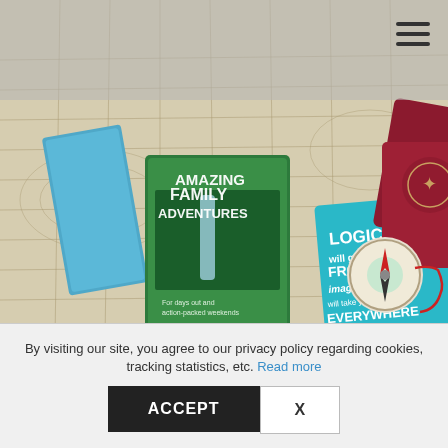[Figure (photo): Hero photo showing books 'Amazing Family Adventures' and a teal card with 'Logic will get you from A to B, imagination will take you everywhere' quote, on a map background with a compass and passport]
I then told hubby my thoughts to which he replied You want to home school our kids? But during summer holidays all you want to
By visiting our site, you agree to our privacy policy regarding cookies, tracking statistics, etc. Read more